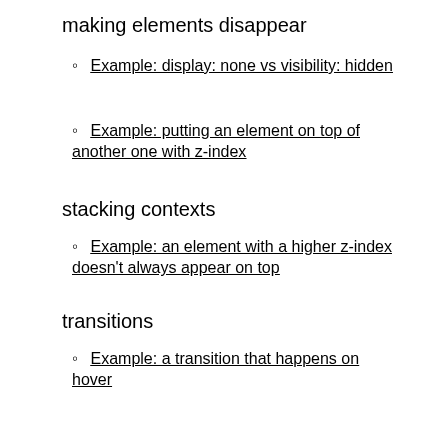making elements disappear
Example: display: none vs visibility: hidden
Example: putting an element on top of another one with z-index
stacking contexts
Example: an element with a higher z-index doesn't always appear on top
transitions
Example: a transition that happens on hover